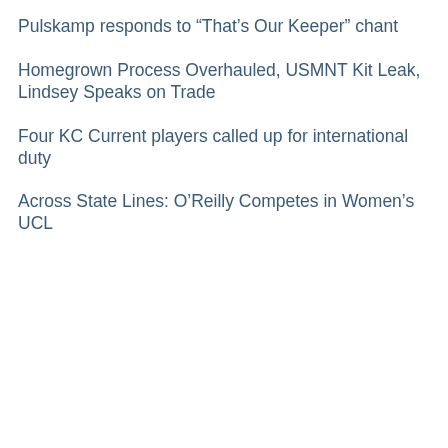Pulskamp responds to “That’s Our Keeper” chant
Homegrown Process Overhauled, USMNT Kit Leak, Lindsey Speaks on Trade
Four KC Current players called up for international duty
Across State Lines: O’Reilly Competes in Women’s UCL